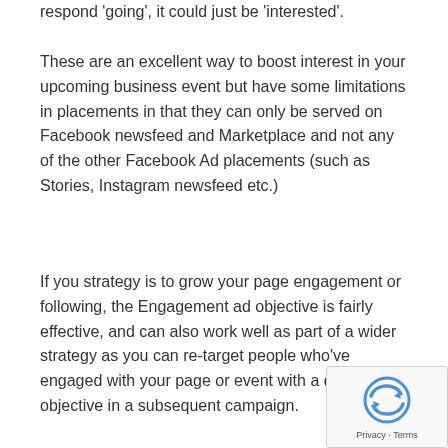respond 'going', it could just be 'interested'.
These are an excellent way to boost interest in your upcoming business event but have some limitations in placements in that they can only be served on Facebook newsfeed and Marketplace and not any of the other Facebook Ad placements (such as Stories, Instagram newsfeed etc.)
If you strategy is to grow your page engagement or following, the Engagement ad objective is fairly effective, and can also work well as part of a wider strategy as you can re-target people who've engaged with your page or event with a different ad objective in a subsequent campaign.